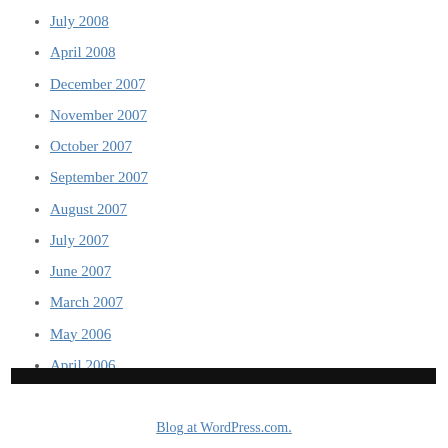July 2008
April 2008
December 2007
November 2007
October 2007
September 2007
August 2007
July 2007
June 2007
March 2007
May 2006
April 2006
Blog at WordPress.com.